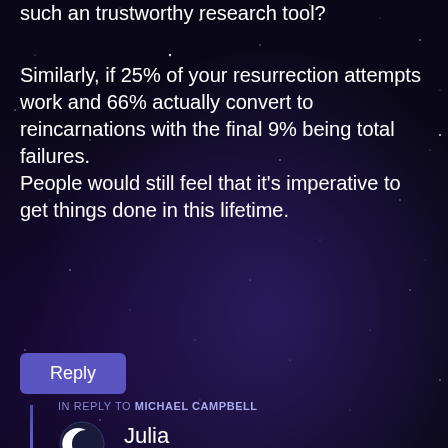such an trustworthy research tool?
Similarly, if 25% of your resurrection attempts work and 66% actually convert to reincarnations with the final 9% being total failures.
People would still feel that it's imperative to get things done in this lifetime.
Reply
IN REPLY TO MICHAEL CAMPBELL
Julia
September 1, 2018 at 2:27 pm